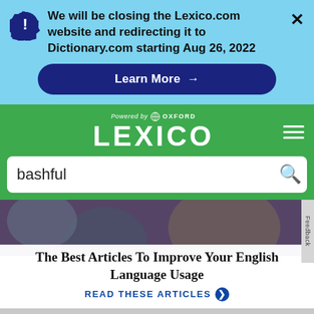We will be closing the Lexico.com website and redirecting it to Dictionary.com starting Aug 26, 2022
Learn More →
[Figure (logo): Lexico powered by Oxford logo on green navigation bar]
bashful
[Figure (photo): Photo of people at a party/event, partially visible behind article card]
The Best Articles To Improve Your English Language Usage
READ THESE ARTICLES ❯
[Figure (infographic): Advertisement for Hair Cuttery: Time For a Trim? Hair Cuttery, with HC logo and blue diamond arrow icon]